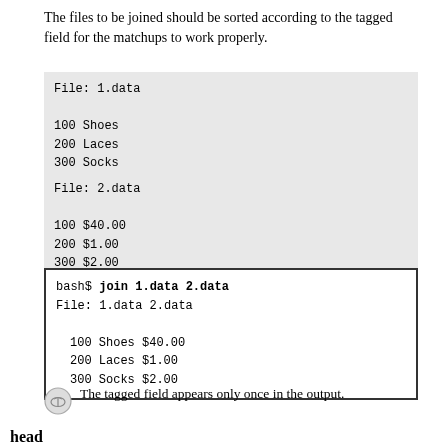The files to be joined should be sorted according to the tagged field for the matchups to work properly.
File: 1.data

100 Shoes
200 Laces
300 Socks
File: 2.data

100 $40.00
200 $1.00
300 $2.00
bash$ join 1.data 2.data
File: 1.data 2.data

  100 Shoes $40.00
  200 Laces $1.00
  300 Socks $2.00
The tagged field appears only once in the output.
head